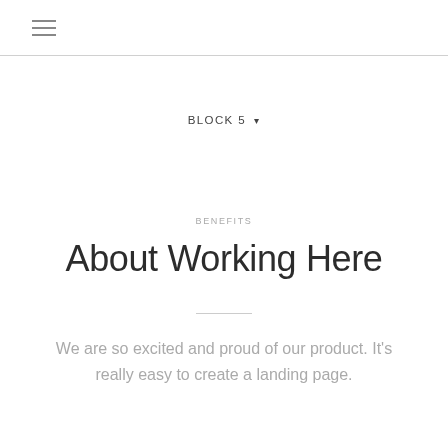≡
BLOCK 5 ▾
BENEFITS
About Working Here
We are so excited and proud of our product. It's really easy to create a landing page.